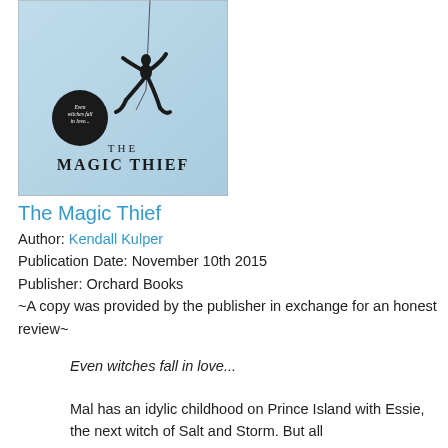[Figure (illustration): Book cover for 'The Magic Thief' showing a silhouette of a person falling/floating against a pale blue background, with the text 'THE MAGIC THIEF' at the bottom and a circular badge reading 'Even witches fall in love...']
The Magic Thief
Author: Kendall Kulper
Publication Date: November 10th 2015
Publisher: Orchard Books
~A copy was provided by the publisher in exchange for an honest review~
Even witches fall in love...
Mal has an idylic childhood on Prince Island with Essie, the next witch of Salt and Storm. But all